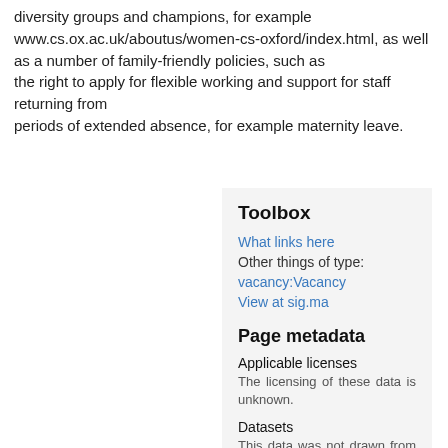diversity groups and champions, for example www.cs.ox.ac.uk/aboutus/women-cs-oxford/index.html, as well as a number of family-friendly policies, such as the right to apply for flexible working and support for staff returning from periods of extended absence, for example maternity leave.
Toolbox
What links here
Other things of type:
vacancy:Vacancy
View at sig.ma
Page metadata
Applicable licenses
The licensing of these data is unknown.
Datasets
This data was not drawn from any